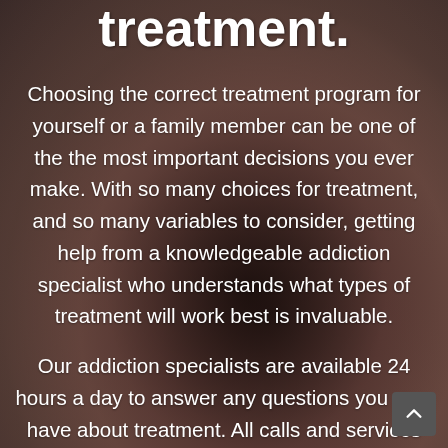treatment.
Choosing the correct treatment program for yourself or a family member can be one of the the most important decisions you ever make. With so many choices for treatment, and so many variables to consider, getting help from a knowledgeable addiction specialist who understands what types of treatment will work best is invaluable.
Our addiction specialists are available 24 hours a day to answer any questions you may have about treatment. All calls and services are